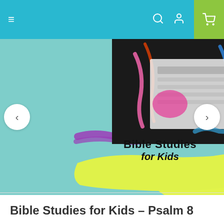≡  🔍  🙍  🛒
[Figure (screenshot): Website banner for 'Bible Studies for Kids' showing a child drawing/coloring with crayons, overlaid with a yellow paint-stroke graphic containing bold text 'Bible Studies for Kids'. Navigation arrows on left and right sides.]
Bible Studies for Kids – Psalm 8